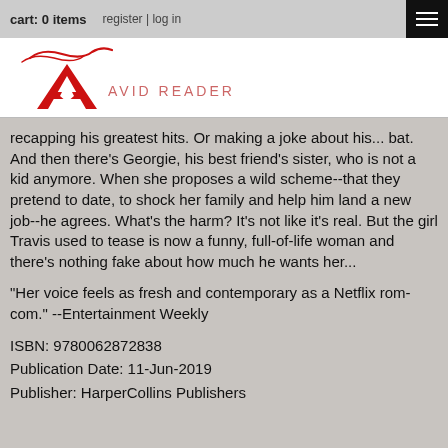cart: 0 items   register | log in
[Figure (logo): Avid Reader logo: red stylized letter A with decorative swash above, text 'AVID READER' in red beside it]
recapping his greatest hits. Or making a joke about his... bat. And then there's Georgie, his best friend's sister, who is not a kid anymore. When she proposes a wild scheme--that they pretend to date, to shock her family and help him land a new job--he agrees. What's the harm? It's not like it's real. But the girl Travis used to tease is now a funny, full-of-life woman and there's nothing fake about how much he wants her...
"Her voice feels as fresh and contemporary as a Netflix rom-com." --Entertainment Weekly
ISBN: 9780062872838
Publication Date: 11-Jun-2019
Publisher: HarperCollins Publishers